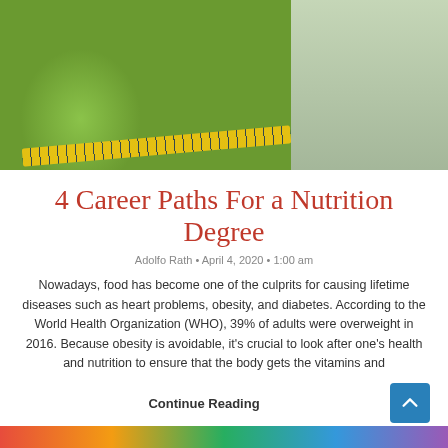[Figure (photo): Photo of fresh fruits (green apple, red apples, kiwi, oranges, carrots), a glass of orange juice, a measuring tape, and a doctor at a computer in the background — representing nutrition and health.]
4 Career Paths For a Nutrition Degree
Adolfo Rath • April 4, 2020 • 1:00 am
Nowadays, food has become one of the culprits for causing lifetime diseases such as heart problems, obesity, and diabetes. According to the World Health Organization (WHO), 39% of adults were overweight in 2016. Because obesity is avoidable, it's crucial to look after one's health and nutrition to ensure that the body gets the vitamins and
Continue Reading
[Figure (photo): Bottom strip showing thumbnails of additional food/nutrition related articles.]